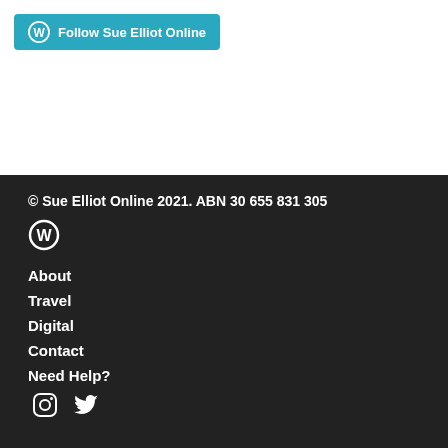[Figure (logo): WordPress Follow button: blue rounded button with WordPress 'W' circle icon and text 'Follow Sue Elliot Online']
© Sue Elliot Online 2021. ABN 30 655 831 305
[Figure (logo): WordPress circle logo icon in white on dark background]
About
Travel
Digital
Contact
Need Help?
[Figure (logo): Instagram and Twitter social media icons in white]